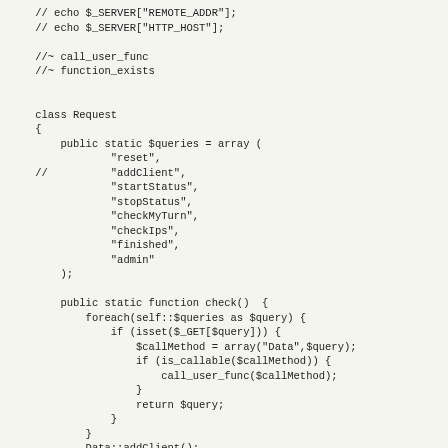// echo $_SERVER["REMOTE_ADDR"];
// echo $_SERVER["HTTP_HOST"];

//~ call_user_func
//~ function_exists


class Request
{
    public static $queries = array (
            "reset",
//          "addClient",
            "startStatus",
            "stopStatus",
            "checkMyTurn",
            "checkIps",
            "finished",
            "admin"
    );

    public static function check()  {
        foreach(self::$queries as $query) {
            if (isset($_GET[$query])) {
                $callMethod = array("Data",$query);
                if (is_callable($callMethod)) {
                    call_user_func($callMethod);
                }
                return $query;
            }
        }
        Data::addClient();
        return "showPage";
    }
}

abstract class SerializedData
{
    protected function _write($filename, $data) {
        file_put_contents($filename, serialize($data));
    }

    protected function _read($filename) {